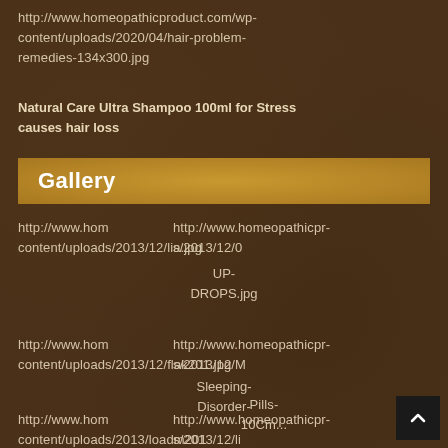http://www.homeopathicproduct.com/wp-content/uploads/2020/04/hair-problem-remedies-134x300.jpg
Natural Care Ultra Shampoo 100ml for Stress causes hair loss
Gallery
http://www.homeopathicproduct.com/wp-content/uploads/2013/12/... [overlapping URLs] UP-DROPS.jpg
http://www.homeopathicproduct.com/wp-content/uploads/2013/12/... [overlapping URLs] Sleeping-Disorder-Pills...
http://www.homeopathicproduct.com/wp-content/uploads/... [overlapping URLs]